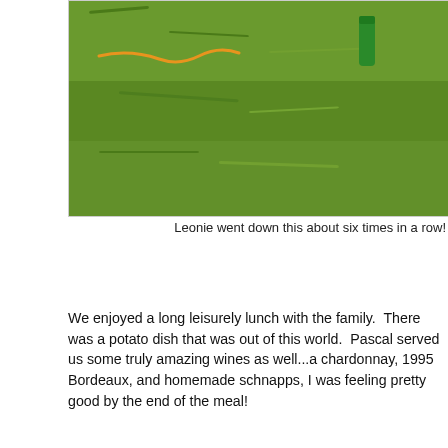[Figure (photo): Aerial/overhead view of grass with orange rope and green object visible]
Leonie went down this about six times in a row!
We enjoyed a long leisurely lunch with the family.  There was a potato dish that was out of this world.  Pascal served us some truly amazing wines as well...a chardonnay, 1995 Bordeaux, and homemade schnapps, I was feeling pretty good by the end of the meal!
[Figure (photo): Family group seated around a long dining table for lunch, indoors with garden visible through windows]